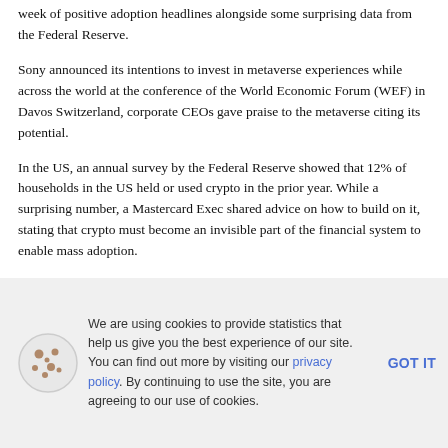week of positive adoption headlines alongside some surprising data from the Federal Reserve.
Sony announced its intentions to invest in metaverse experiences while across the world at the conference of the World Economic Forum (WEF) in Davos Switzerland, corporate CEOs gave praise to the metaverse citing its potential.
In the US, an annual survey by the Federal Reserve showed that 12% of households in the US held or used crypto in the prior year. While a surprising number, a Mastercard Exec shared advice on how to build on it, stating that crypto must become an invisible part of the financial system to enable mass adoption.
We are using cookies to provide statistics that help us give you the best experience of our site. You can find out more by visiting our privacy policy. By continuing to use the site, you are agreeing to our use of cookies. GOT IT